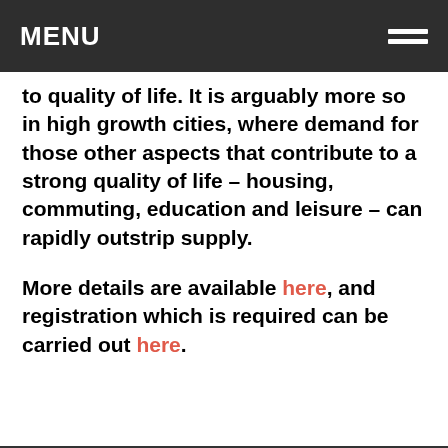MENU
to quality of life. It is arguably more so in high growth cities, where demand for those other aspects that contribute to a strong quality of life – housing, commuting, education and leisure – can rapidly outstrip supply.
More details are available here, and registration which is required can be carried out here.